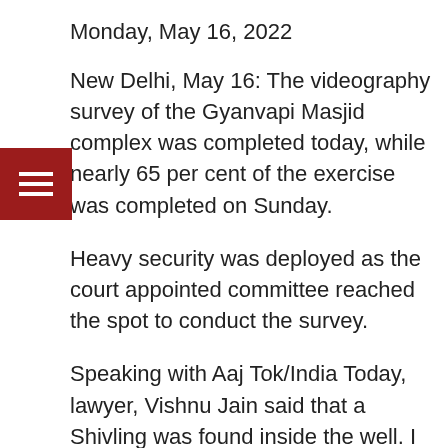Monday, May 16, 2022
New Delhi, May 16: The videography survey of the Gyanvapi Masjid complex was completed today, while nearly 65 per cent of the exercise was completed on Sunday.
Heavy security was deployed as the court appointed committee reached the spot to conduct the survey.
Speaking with Aaj Tok/India Today, lawyer, Vishnu Jain said that a Shivling was found inside the well. I will go to civil court to seek its protection, he also said.
The Mosque is located close to the iconic Kashi Vishwanath temple and the...